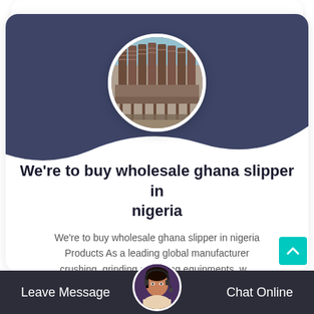[Figure (photo): Circular profile image showing industrial mineral processing equipment — large arrays of spiral concentrators or similar machinery in an outdoor industrial facility]
We're to buy wholesale ghana slipper in nigeria
We're to buy wholesale ghana slipper in nigeria Products As a leading global manufacturer crushing, grinding and mining equipments, w...
Leave Message   Chat Online